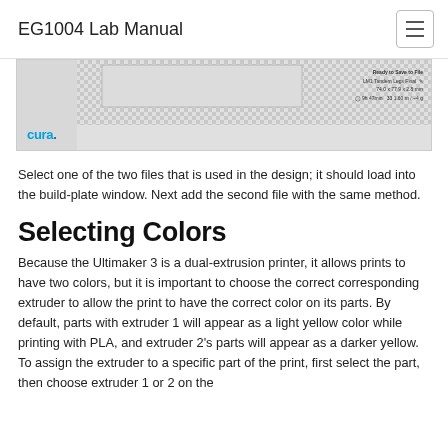EG1004 Lab Manual
[Figure (screenshot): Screenshot of Cura slicer software showing a 3D model on the build plate with 'Ready to Save to File' status and the Cura logo in the lower left.]
Select one of the two files that is used in the design; it should load into the build-plate window. Next add the second file with the same method.
Selecting Colors
Because the Ultimaker 3 is a dual-extrusion printer, it allows prints to have two colors, but it is important to choose the correct corresponding extruder to allow the print to have the correct color on its parts. By default, parts with extruder 1 will appear as a light yellow color while printing with PLA, and extruder 2's parts will appear as a darker yellow. To assign the extruder to a specific part of the print, first select the part, then choose extruder 1 or 2 on the